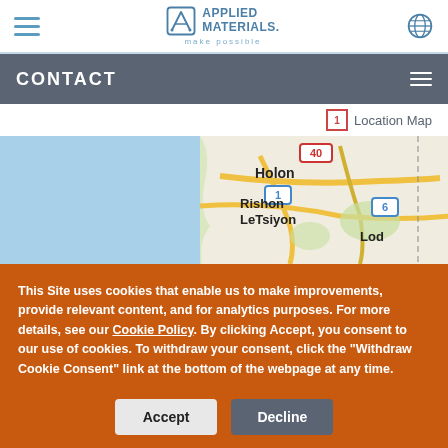Applied Materials — make possible — Navigation bar with hamburger menu and globe icon
CONTACT
Location Map
[Figure (map): Google Maps showing Holon, Rishon LeTsiyon, and Lod area in Israel with route markers 40, 1, 6]
This Site uses cookies that enable us to make improvements, provide relevant content, and for analytics purposes. For more details, see our Cookie Policy. By clicking Accept, you consent to our use of cookies. To withdraw your consent, click the "Withdraw Cookie Consent" link at the bottom of the webpage at any time.